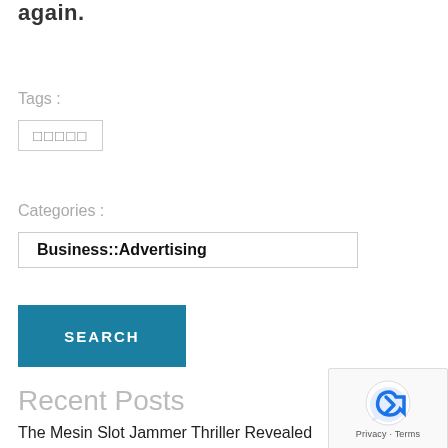again.
Tags :
□□□□□
Categories :
Business::Advertising
SEARCH
Recent Posts
The Mesin Slot Jammer Thriller Revealed